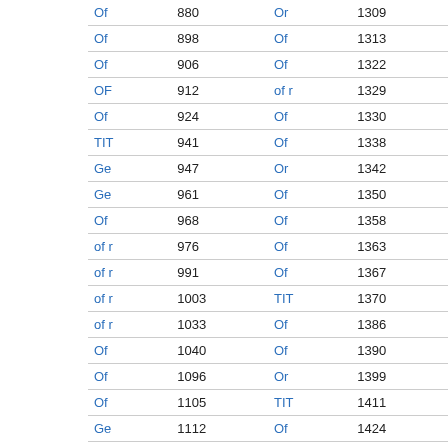| Of | 880 | Or | 1309 |
| Of | 898 | Of | 1313 |
| Of | 906 | Of | 1322 |
| OF | 912 | of r | 1329 |
| Of | 924 | Of | 1330 |
| TIT | 941 | Of | 1338 |
| Ge | 947 | Or | 1342 |
| Ge | 961 | Of | 1350 |
| Of | 968 | Of | 1358 |
| of r | 976 | Of | 1363 |
| of r | 991 | Of | 1367 |
| of r | 1003 | TIT | 1370 |
| of r | 1033 | Of | 1386 |
| Of | 1040 | Of | 1390 |
| Of | 1096 | Or | 1399 |
| Of | 1105 | TIT | 1411 |
| Ge | 1112 | Of | 1424 |
| Of | 1127 | Of | 1432 |